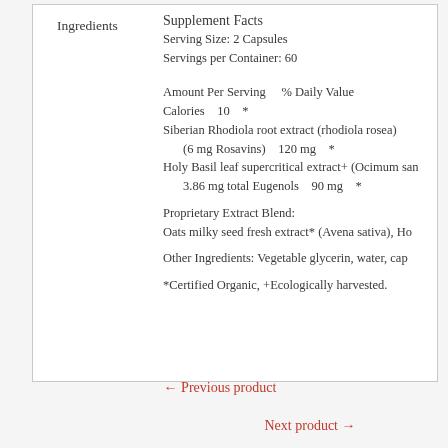Ingredients
Supplement Facts
Serving Size: 2 Capsules
Servings per Container: 60

Amount Per Serving    % Daily Value

Calories    10    *
Siberian Rhodiola root extract (rhodiola rosea)
    (6 mg Rosavins)    120 mg    *
Holy Basil leaf supercritical extract+ (Ocimum san
    3.86 mg total Eugenols    90 mg    *

Proprietary Extract Blend:
Oats milky seed fresh extract* (Avena sativa), Ho

Other Ingredients: Vegetable glycerin, water, cap

*Certified Organic, +Ecologically harvested.
← Previous product
Next product →